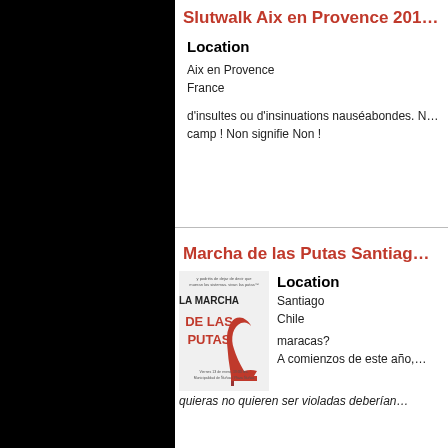Slutwalk Aix en Provence 201…
Location
Aix en Provence
France
d'insultes ou d'insinuations nauséabondes. N… camp ! Non signifie Non !
Marcha de las Putas Santiago…
[Figure (illustration): Poster for La Marcha de las Putas featuring a red high heel shoe, text in black and red]
Location
Santiago
Chile
maracas?
A comienzos de este año,…
quieras no quieren ser violadas deberían…